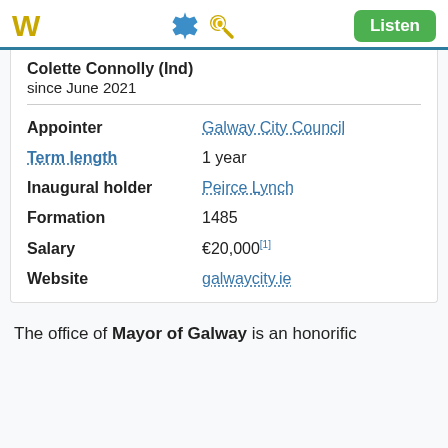W  [gear icon] [search icon]  Listen
Colette Connolly (Ind)
since June 2021
| Field | Value |
| --- | --- |
| Appointer | Galway City Council |
| Term length | 1 year |
| Inaugural holder | Peirce Lynch |
| Formation | 1485 |
| Salary | €20,000[1] |
| Website | galwaycity.ie |
The office of Mayor of Galway is an honorific